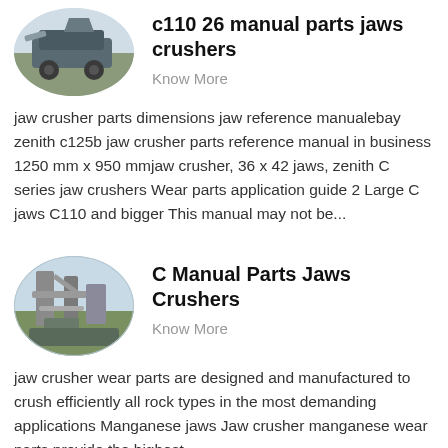[Figure (photo): Oval photo of a jaw crusher machine, industrial equipment on a job site]
c110 26 manual parts jaws crushers
Know More
jaw crusher parts dimensions jaw reference manualebay zenith c125b jaw crusher parts reference manual in business 1250 mm x 950 mmjaw crusher, 36 x 42 jaws, zenith C series jaw crushers Wear parts application guide 2 Large C jaws C110 and bigger This manual may not be...
[Figure (photo): Oval photo of industrial crushers with piping and machinery on an outdoor site]
C Manual Parts Jaws Crushers
Know More
jaw crusher wear parts are designed and manufactured to crush efficiently all rock types in the most demanding applications Manganese jaws Jaw crusher manganese wear parts provide the highest